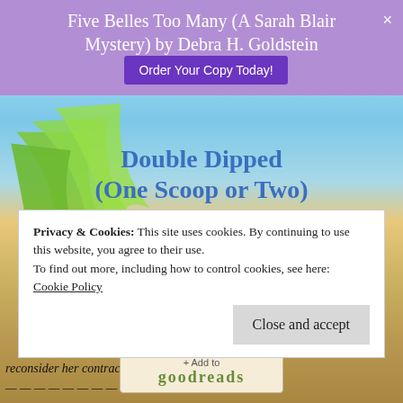Five Belles Too Many (A Sarah Blair Mystery) by Debra H. Goldstein
Order Your Copy Today!
Double Dipped (One Scoop or Two)
by Terry Korth Fischer
Cozy Mystery
Part of: One Scoop or Two (50 books)
[Figure (illustration): Goodreads + Add to goodreads button]
Privacy & Cookies: This site uses cookies. By continuing to use this website, you agree to their use.
To find out more, including how to control cookies, see here:
Cookie Policy
Close and accept